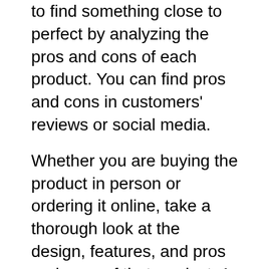to find something close to perfect by analyzing the pros and cons of each product. You can find pros and cons in customers' reviews or social media.
Whether you are buying the product in person or ordering it online, take a thorough look at the design, features, and pros and cons of that product. A concise yet proper list of pros and cons will save a lot of your time. Spend your money once you are delighted with everything.
Before making your final decision, understand the working mechanism of the product you will buy. If it's the first time you are purchasing best black hawk toys, we advise you to manually go through the pros